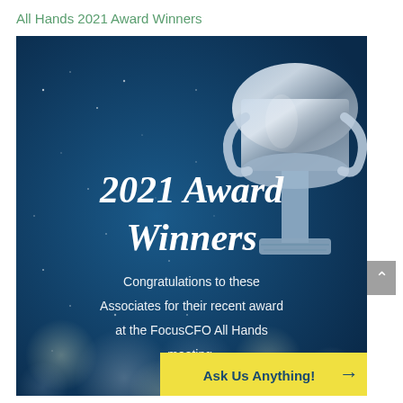All Hands 2021 Award Winners
[Figure (photo): Dark blue background with sparkle/bokeh effect and a silver trophy cup on the right side. Large bold white italic text reads '2021 Award Winners'. Below in lighter white text: 'Congratulations to these Associates for their recent award at the FocusCFO All Hands meeting.' A yellow bar at the bottom right reads 'Ask Us Anything!' with an arrow.]